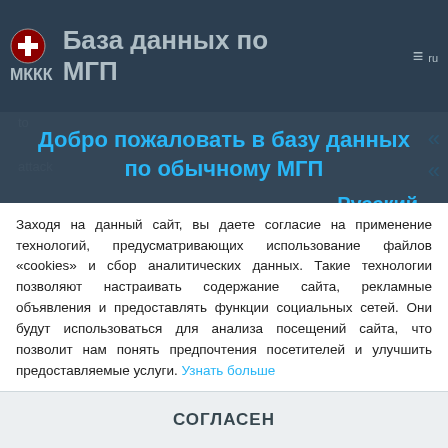База данных по МГП — МККК
to
attack
the
targets
further.
Flexible
targeting
Добро пожаловать в базу данных по обычному МГП
Русский
Заходя на данный сайт, вы даете согласие на применение технологий, предусматривающих использование файлов «cookies» и сбор аналитических данных. Такие технологии позволяют настраивать содержание сайта, рекламные объявления и предоставлять функции социальных сетей. Они будут использоваться для анализа посещений сайта, что позволит нам понять предпочтения посетителей и улучшить предоставляемые услуги. Узнать больше
СОГЛАСЕН